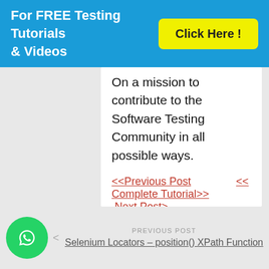For FREE Testing Tutorials & Videos | Click Here !
On a mission to contribute to the Software Testing Community in all possible ways.
<<Previous Post    <<
Complete Tutorial>>
 Next Post>
LOCATORS FOR SELENIUM
XPATH AXES
PREVIOUS POST
Selenium Locators – position() XPath Function